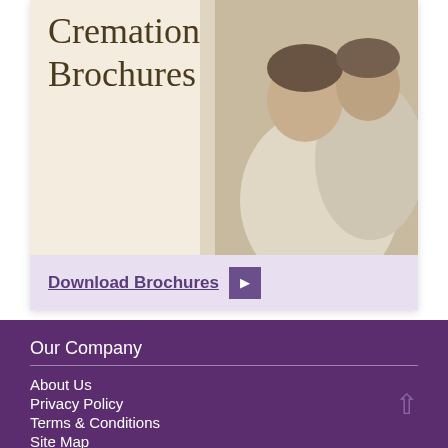[Figure (photo): Card with photo of smiling older couple (woman in cream coat, man behind her), cream/beige background on left side with large serif text 'Cremation Brochures' overlaid. Light lavender footer bar with 'Download Brochures' link and play button.]
Download Brochures ▶
Our Company
About Us
Privacy Policy
Terms & Conditions
Site Map